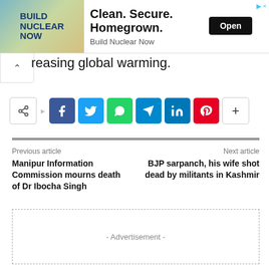[Figure (other): Advertisement banner: BUILD NUCLEAR NOW with Clean. Secure. Homegrown. tagline and Open button]
...reasing global warming.
[Figure (other): Social media share buttons: share icon, Facebook, Twitter, WhatsApp, Telegram, LinkedIn, Pinterest, more]
Previous article
Manipur Information Commission mourns death of Dr Ibocha Singh
Next article
BJP sarpanch, his wife shot dead by militants in Kashmir
- Advertisement -